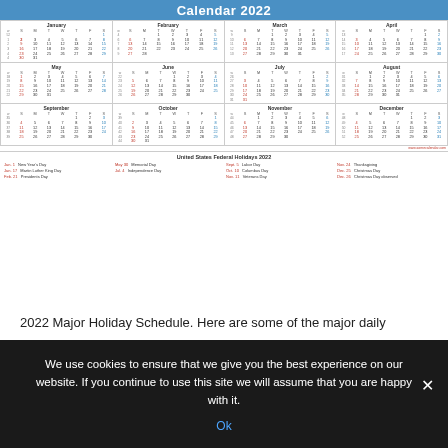[Figure (other): 2022 Annual Calendar showing all 12 months in a 4x3 grid with US Federal Holidays listed below]
2022 Major Holiday Schedule. Here are some of the major daily
We use cookies to ensure that we give you the best experience on our website. If you continue to use this site we will assume that you are happy with it.
Ok